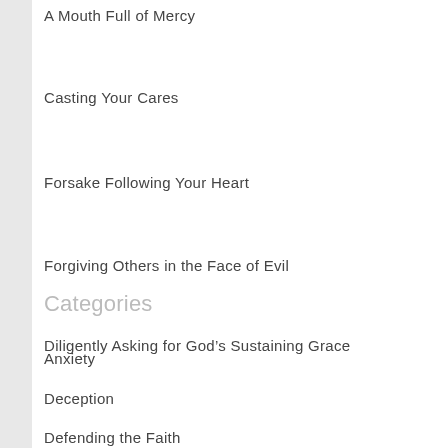A Mouth Full of Mercy
Casting Your Cares
Forsake Following Your Heart
Forgiving Others in the Face of Evil
Diligently Asking for God’s Sustaining Grace
Categories
Anxiety
Deception
Defending the Faith